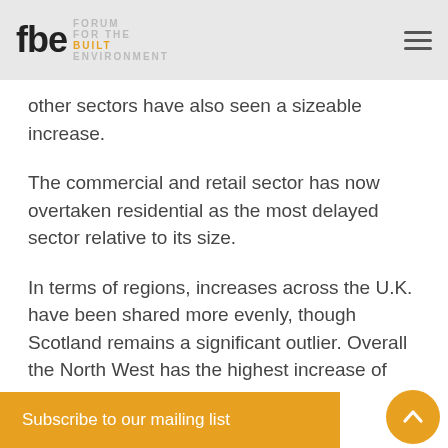fbe Forum for the Built Environment
other sectors have also seen a sizeable increase.
The commercial and retail sector has now overtaken residential as the most delayed sector relative to its size.
In terms of regions, increases across the U.K. have been shared more evenly, though Scotland remains a significant outlier. Overall the North West has the highest increase of open projects this week, with £1.9bn worth of open infrastructure projects confirmed in the
Subscribe to our mailing list